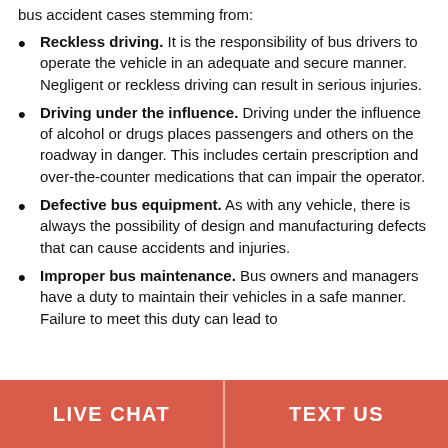bus accident cases stemming from:
Reckless driving. It is the responsibility of bus drivers to operate the vehicle in an adequate and secure manner. Negligent or reckless driving can result in serious injuries.
Driving under the influence. Driving under the influence of alcohol or drugs places passengers and others on the roadway in danger. This includes certain prescription and over-the-counter medications that can impair the operator.
Defective bus equipment. As with any vehicle, there is always the possibility of design and manufacturing defects that can cause accidents and injuries.
Improper bus maintenance. Bus owners and managers have a duty to maintain their vehicles in a safe manner. Failure to meet this duty can lead to
LIVE CHAT   TEXT US